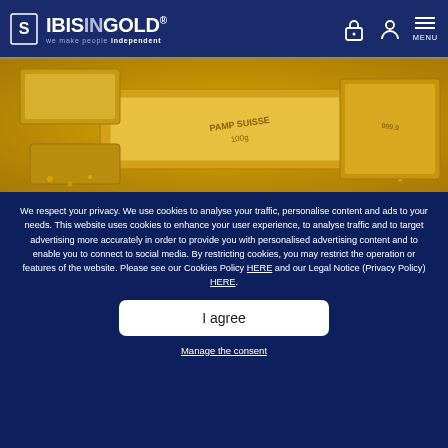IBISINGOLD® we make people independent
[Figure (photo): Close-up photograph of gold bars and gold nuggets/granules, showing stamped markings on the bars]
We respect your privacy. We use cookies to analyse your traffic, personalise content and ads to your needs. This website uses cookies to enhance your user experience, to analyse traffic and to target advertising more accurately in order to provide you with personalised advertising content and to enable you to connect to social media. By restricting cookies, you may restrict the operation or features of the website. Please see our Cookies Policy HERE and our Legal Notice (Privacy Policy) HERE.
I agree
Manage the consent